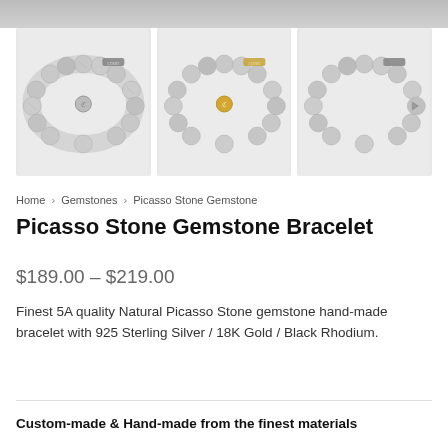[Figure (photo): Top strip of a product image (partial, cropped at top)]
[Figure (photo): Three product photos of Picasso Stone Gemstone Bracelets side by side: left with silver clasp, center with gold clasp, right with silver arrow clasp]
Home > Gemstones > Picasso Stone Gemstone
Picasso Stone Gemstone Bracelet
$189.00 – $219.00
Finest 5A quality Natural Picasso Stone gemstone hand-made bracelet with 925 Sterling Silver / 18K Gold / Black Rhodium.
Custom-made & Hand-made from the finest materials